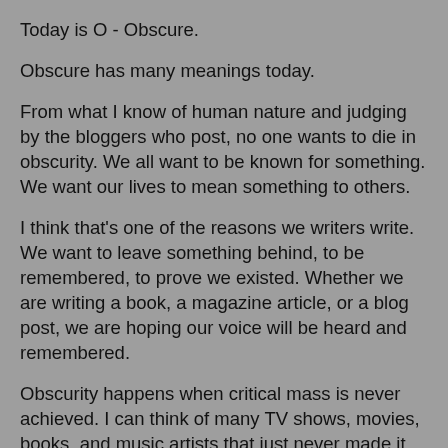Today is O - Obscure.
Obscure has many meanings today.
From what I know of human nature and judging by the bloggers who post, no one wants to die in obscurity. We all want to be known for something. We want our lives to mean something to others.
I think that's one of the reasons we writers write. We want to leave something behind, to be remembered, to prove we existed. Whether we are writing a book, a magazine article, or a blog post, we are hoping our voice will be heard and remembered.
Obscurity happens when critical mass is never achieved. I can think of many TV shows, movies, books, and music artists that just never made it. They're still around, but I bet no one has ever heard of the band O.S.I. The Lost Room featured the best writing ever on TV, but sadly SyFy discontinued this fantastic mini-series. And how many remember the TV series Carter Doodle Spell? For I Wanna...